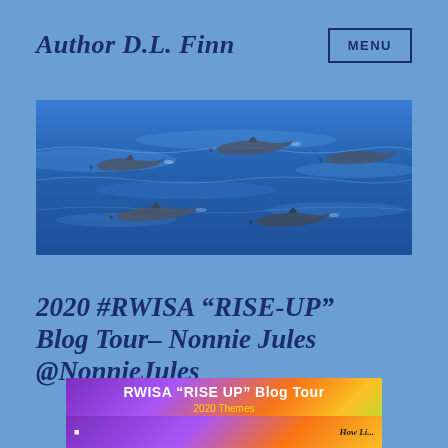Author D.L. Finn
[Figure (photo): Dolphins swimming at the ocean surface, aerial view showing blue water with several dolphins visible]
2020 #RWISA “RISE-UP” Blog Tour– Nonnie Jules @NonnieJules
[Figure (infographic): RWISA ‘RISE UP’ Blog Tour banner with purple to orange gradient background, title text and 2020 Themes subtitle with partial book covers visible at bottom]